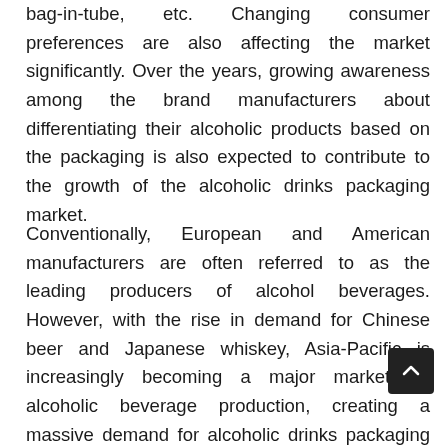bag-in-tube, etc. Changing consumer preferences are also affecting the market significantly. Over the years, growing awareness among the brand manufacturers about differentiating their alcoholic products based on the packaging is also expected to contribute to the growth of the alcoholic drinks packaging market.
Conventionally, European and American manufacturers are often referred to as the leading producers of alcohol beverages. However, with the rise in demand for Chinese beer and Japanese whiskey, Asia-Pacific is increasingly becoming a major market for alcoholic beverage production, creating a massive demand for alcoholic drinks packaging solutions.